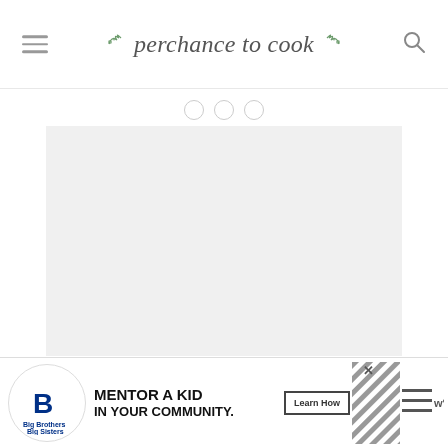perchance to cook
[Figure (screenshot): Main content image area placeholder (light gray rectangle)]
[Figure (infographic): Big Brothers Big Sisters advertisement banner: MENTOR A KID IN YOUR COMMUNITY. Learn How button. Logo on left, decorative diagonal stripe pattern, close button, and secondary icons on right.]